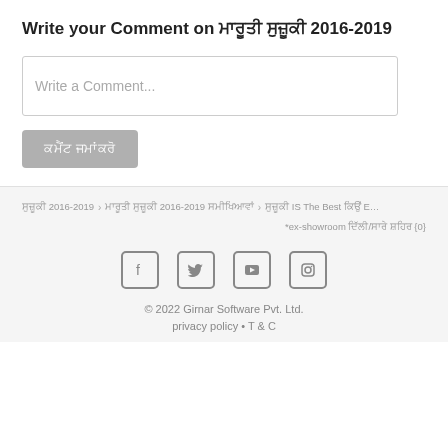Write your Comment on ਮਾਰੂਤੀ ਸੁਜ਼ੂਕੀ 2016-2019
Write a Comment...
ਕਮੈਂਟ ਜਮਾਂਕਰੋ
ਸੁਜ਼ੂਕੀ 2016-2019 › ਮਾਰੂਤੀ ਸੁਜ਼ੂਕੀ 2016-2019 ਸਮੀਖਿਆਵਾਂ › ਸੁਜ਼ੂਕੀ IS The Best ਕਿਉਂ E…
*ex-showroom ਦਿੱਲੀ/ਸਾਰੇ ਸ਼ਹਿਰ {0}
[Figure (other): Social media icons: Facebook, Twitter, YouTube, Instagram]
© 2022 Girnar Software Pvt. Ltd.
privacy policy • T & C